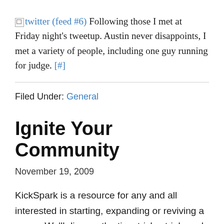twitter (feed #6) Following those I met at Friday night's tweetup. Austin never disappoints, I met a variety of people, including one guy running for judge. [#]
Filed Under: General
Ignite Your Community
November 19, 2009
KickSpark is a resource for any and all interested in starting, expanding or reviving a group. We'll discuss the tips, tricks, trials and